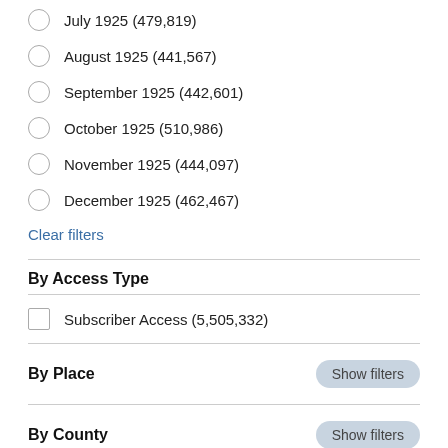July 1925 (479,819)
August 1925 (441,567)
September 1925 (442,601)
October 1925 (510,986)
November 1925 (444,097)
December 1925 (462,467)
Clear filters
By Access Type
Subscriber Access (5,505,332)
By Place
By County
By Newspaper